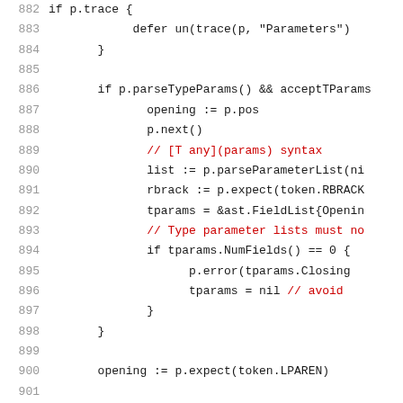882  if p.trace {
883      defer un(trace(p, "Parameters")
884      }
885
886  if p.parseTypeParams() && acceptTParams
887      opening := p.pos
888      p.next()
889      // [T any](params) syntax
890      list := p.parseParameterList(ni
891      rbrack := p.expect(token.RBRACK
892      tparams = &ast.FieldList{Openin
893      // Type parameter lists must no
894      if tparams.NumFields() == 0 {
895          p.error(tparams.Closing
896          tparams = nil // avoid
897      }
898  }
899
900  opening := p.expect(token.LPAREN)
901
902  var fields []*ast.Field
903  if p.tok != token.RPAREN {